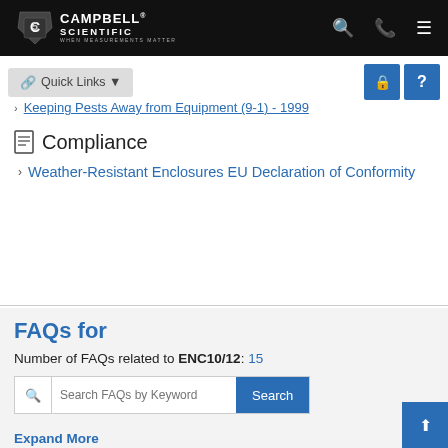Campbell Scientific - When Measurements Matter
Keeping Pests Away from Equipment (9-1) - 1999
Compliance
Weather-Resistant Enclosures EU Declaration of Conformity
FAQs for
Number of FAQs related to ENC10/12: 15